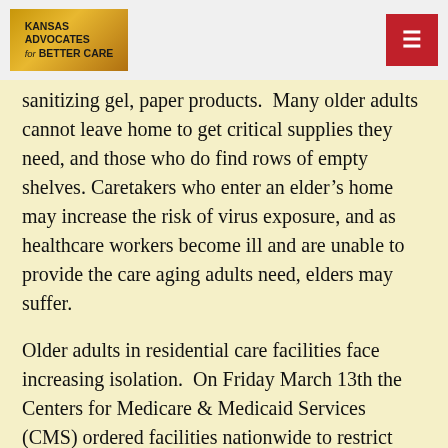Kansas Advocates for Better Care
sanitizing gel, paper products.  Many older adults cannot leave home to get critical supplies they need, and those who do find rows of empty shelves. Caretakers who enter an elder’s home may increase the risk of virus exposure, and as healthcare workers become ill and are unable to provide the care aging adults need, elders may suffer.
Older adults in residential care facilities face increasing isolation.  On Friday March 13th the Centers for Medicare & Medicaid Services (CMS) ordered facilities nationwide to restrict visitors from entering their buildings, and stop all group activities among residents, including shared meals during mealtimes.